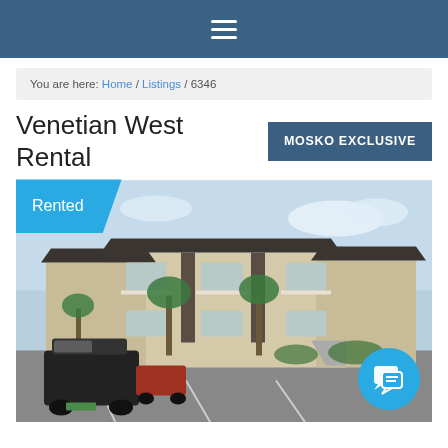≡
You are here: Home / Listings / 6346
Venetian West Rental
MOSKO EXCLUSIVE
[Figure (photo): Exterior photo of Venetian West Rental property — a two-story beige apartment/condo building with dark roof, balconies, palm trees, and a parking lot in the foreground with a black Jeep SUV. A 'Rented' badge overlays the top-left corner and a chat button overlays the bottom-right.]